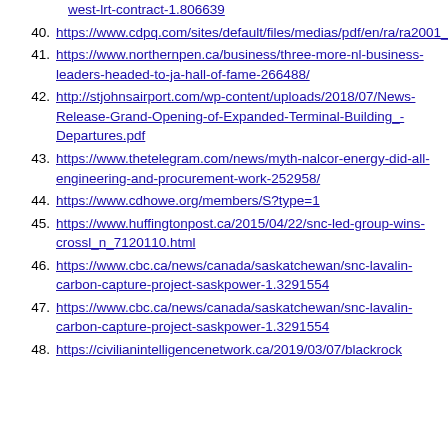west-lrt-contract-1.806639
40. https://www.cdpq.com/sites/default/files/medias/pdf/en/ra/ra2001_survol_activites_en.pdf
41. https://www.northernpen.ca/business/three-more-nl-business-leaders-headed-to-ja-hall-of-fame-266488/
42. http://stjohnsairport.com/wp-content/uploads/2018/07/News-Release-Grand-Opening-of-Expanded-Terminal-Building_-Departures.pdf
43. https://www.thetelegram.com/news/myth-nalcor-energy-did-all-engineering-and-procurement-work-252958/
44. https://www.cdhowe.org/members/S?type=1
45. https://www.huffingtonpost.ca/2015/04/22/snc-led-group-wins-crossl_n_7120110.html
46. https://www.cbc.ca/news/canada/saskatchewan/snc-lavalin-carbon-capture-project-saskpower-1.3291554
47. https://www.cbc.ca/news/canada/saskatchewan/snc-lavalin-carbon-capture-project-saskpower-1.3291554
48. https://civilianintelligencenetwork.ca/2019/03/07/blackrock